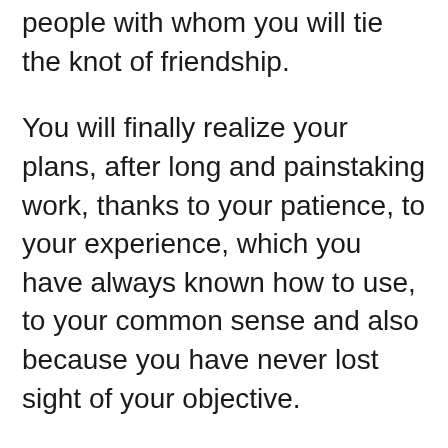people with whom you will tie the knot of friendship.
You will finally realize your plans, after long and painstaking work, thanks to your patience, to your experience, which you have always known how to use, to your common sense and also because you have never lost sight of your objective.